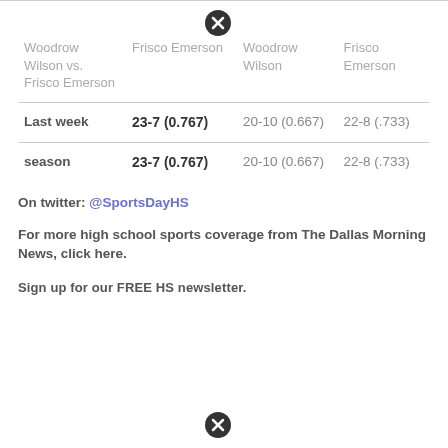|  | Frisco Emerson | Woodrow Wilson | Frisco Emerson |
| --- | --- | --- | --- |
| Last week | 23-7 (0.767) | 20-10 (0.667) | 22-8 (.733) |
| season | 23-7 (0.767) | 20-10 (0.667) | 22-8 (.733) |
On twitter: @SportsDayHS
For more high school sports coverage from The Dallas Morning News, click here.
Sign up for our FREE HS newsletter.